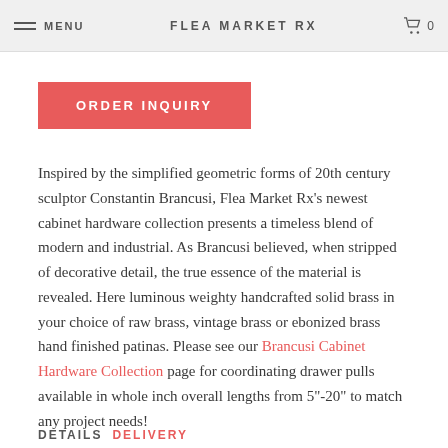MENU   FLEA MARKET RX   0
ORDER INQUIRY
Inspired by the simplified geometric forms of 20th century sculptor Constantin Brancusi, Flea Market Rx's newest cabinet hardware collection presents a timeless blend of modern and industrial. As Brancusi believed, when stripped of decorative detail, the true essence of the material is revealed. Here luminous weighty handcrafted solid brass in your choice of raw brass, vintage brass or ebonized brass hand finished patinas. Please see our Brancusi Cabinet Hardware Collection page for coordinating drawer pulls available in whole inch overall lengths from 5"-20" to match any project needs!
DETAILS   DELIVERY